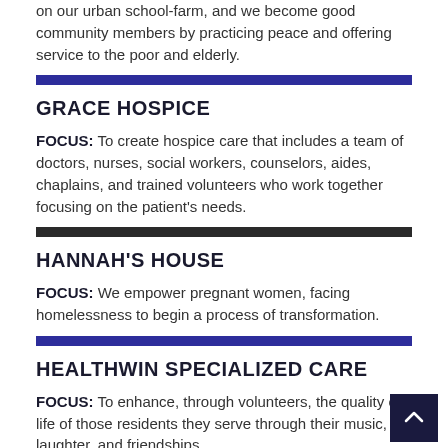lessons and from local farms as well as permaculture practiced on our urban school-farm, and we become good community members by practicing peace and offering service to the poor and elderly.
GRACE HOSPICE
FOCUS: To create hospice care that includes a team of doctors, nurses, social workers, counselors, aides, chaplains, and trained volunteers who work together focusing on the patient's needs.
HANNAH'S HOUSE
FOCUS: We empower pregnant women, facing homelessness to begin a process of transformation.
HEALTHWIN SPECIALIZED CARE
FOCUS: To enhance, through volunteers, the quality of life of those residents they serve through their music, laughter, and friendships.
HOLY CROSS SCHOOL
FOCUS: Holy Cross School is a place where faith could be taught,